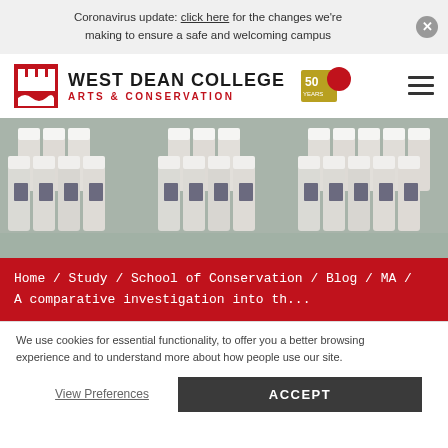Coronavirus update: click here for the changes we're making to ensure a safe and welcoming campus
[Figure (logo): West Dean College Arts & Conservation logo with castle icon and 50 Years badge]
[Figure (photo): Rows of small glass vials/bottles with white caps and blue labels arranged on a surface]
Home / Study / School of Conservation / Blog / MA / A comparative investigation into th...
We use cookies for essential functionality, to offer you a better browsing experience and to understand more about how people use our site.
View Preferences
ACCEPT